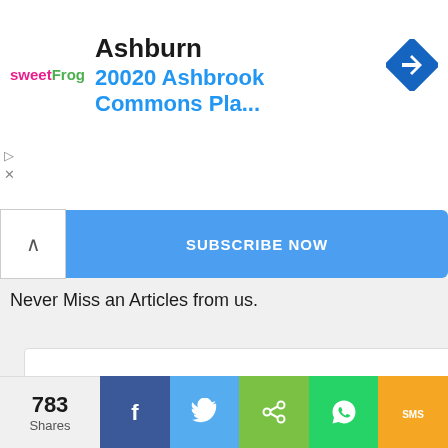[Figure (screenshot): sweetFrog logo with play and X icons on left side]
Ashburn
20020 Ashbrook Commons Pla...
[Figure (logo): Blue diamond navigation/directions icon]
SUBSCRIBE NOW
Never Miss an Articles from us.
[Figure (screenshot): Advertisement: Vito Services Plumbing, Heating & Cooling — Locally Owned Since 1934 — We Work Tirelessly To Ensure Your Home Remains a Happy Place]
783
Shares